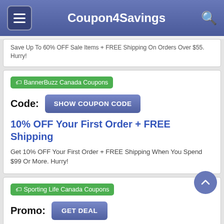Coupon4Savings
Save Up To 60% OFF Sale Items + FREE Shipping On Orders Over $55. Hurry!
BannerBuzz Canada Coupons
Code: SHOW COUPON CODE
10% OFF Your First Order + FREE Shipping
Get 10% OFF Your First Order + FREE Shipping When You Spend $99 Or More. Hurry!
Sporting Life Canada Coupons
Promo: GET DEAL
Up To 50% OFF Summer Clearance Event
Get Up To 50% OFF Summer Clearance Event. Hurry up!